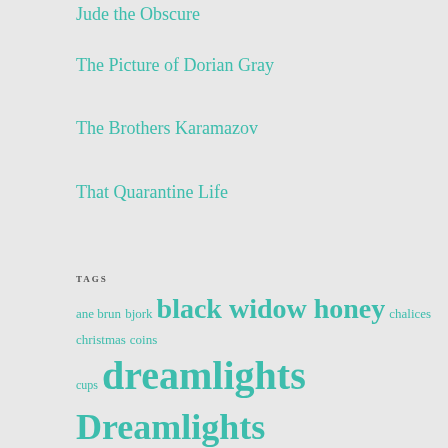Jude the Obscure
The Picture of Dorian Gray
The Brothers Karamazov
That Quarantine Life
TAGS
ane brun bjork black widow honey chalices christmas coins cups dreamlights Dreamlights Radio Emmylou Harris Florence + The Machine gillian welch Marian Call music Nick Cave pentacles photography tarot The